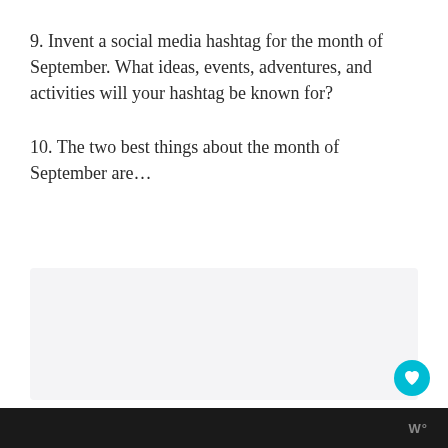9. Invent a social media hashtag for the month of September. What ideas, events, adventures, and activities will your hashtag be known for?
10. The two best things about the month of September are…
W°